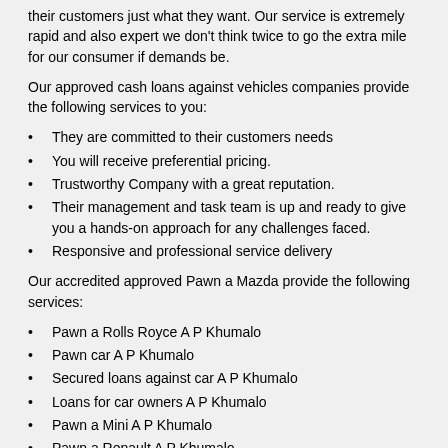their customers just what they want. Our service is extremely rapid and also expert we don't think twice to go the extra mile for our consumer if demands be.
Our approved cash loans against vehicles companies provide the following services to you:
They are committed to their customers needs
You will receive preferential pricing.
Trustworthy Company with a great reputation.
Their management and task team is up and ready to give you a hands-on approach for any challenges faced.
Responsive and professional service delivery
Our accredited approved Pawn a Mazda provide the following services:
Pawn a Rolls Royce A P Khumalo
Pawn car A P Khumalo
Secured loans against car A P Khumalo
Loans for car owners A P Khumalo
Pawn a Mini A P Khumalo
Pawn a Renault A P Khumalo
Pawn a GMC A P Khumalo
Car pawn A P Khumalo
Pawn a Volvo A P Khumalo
Cash loan against car company A P Khumalo
Pawn a car title A P Khumalo
Collateral car loan A P Khumalo